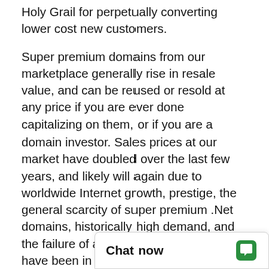Holy Grail for perpetually converting lower cost new customers.
Super premium domains from our marketplace generally rise in resale value, and can be reused or resold at any price if you are ever done capitalizing on them, or if you are a domain investor. Sales prices at our market have doubled over the last few years, and likely will again due to worldwide Internet growth, prestige, the general scarcity of super premium .Net domains, historically high demand, and the failure of all competing "gTLDs". We have been in business for over 10 years and have sold more of our premium domains than any of our competitors. At our previous company (BuyDomains.com) we launched the whole online premium domain trading industry in 1998.
Waiting to purchase y
[Figure (other): Chat now widget with speech bubble icon in green]